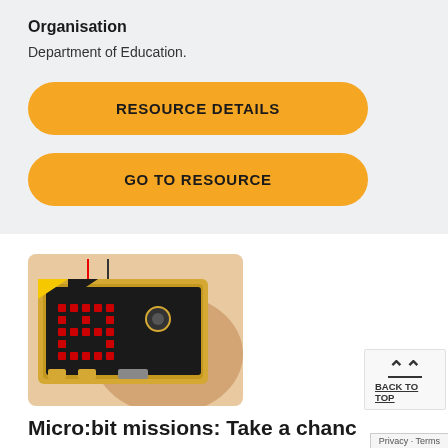Organisation
Department of Education.
RESOURCE DETAILS
GO TO RESOURCE
[Figure (photo): A hand holding a BBC micro:bit device with red LED lights lit on the display matrix, against a white background.]
BACK TO TOP
Micro:bit missions: Take a chanc (Investigating Mathematics)